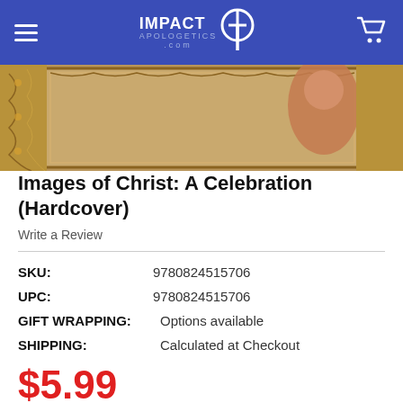IMPACT APOLOGETICS .com
[Figure (photo): Partial product image showing decorative frame with golden/brown ornate border and classical painting detail]
Images of Christ: A Celebration (Hardcover)
Write a Review
SKU:   9780824515706
UPC:   9780824515706
GIFT WRAPPING:   Options available
SHIPPING:   Calculated at Checkout
$5.99
CURRENT STOCK: 119